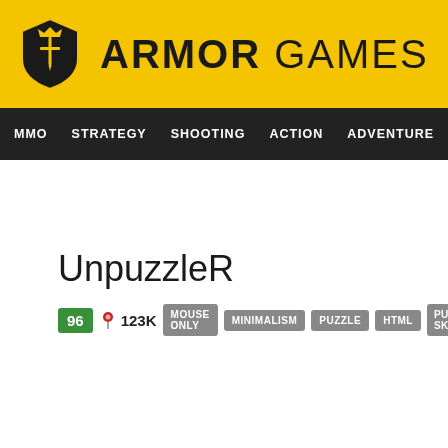ARMOR GAMES
MMO  STRATEGY  SHOOTING  ACTION  ADVENTURE  P
UnpuzzleR
96  123K  MOUSE ONLY  MINIMALISM  PUZZLE  HTML  PUZZLE-SKILL